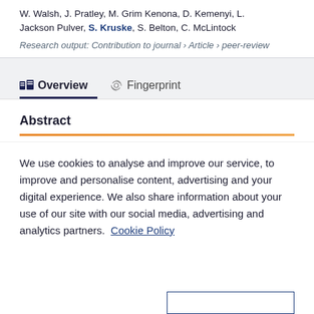W. Walsh, J. Pratley, M. Grim Kenona, D. Kemenyi, L. Jackson Pulver, S. Kruske, S. Belton, C. McLintock
Research output: Contribution to journal › Article › peer-review
Overview
Fingerprint
Abstract
We use cookies to analyse and improve our service, to improve and personalise content, advertising and your digital experience. We also share information about your use of our site with our social media, advertising and analytics partners.  Cookie Policy